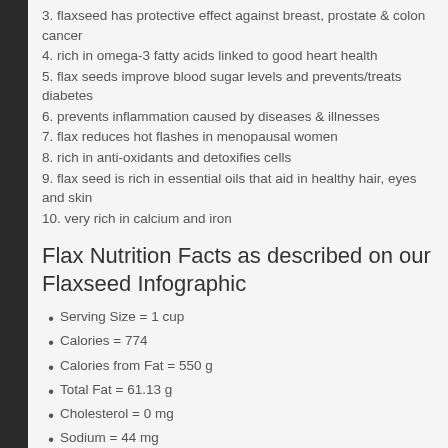3. flaxseed has protective effect against breast, prostate & colon cancer
4. rich in omega-3 fatty acids linked to good heart health
5. flax seeds improve blood sugar levels and prevents/treats diabetes
6. prevents inflammation caused by diseases & illnesses
7. flax reduces hot flashes in menopausal women
8. rich in anti-oxidants and detoxifies cells
9. flax seed is rich in essential oils that aid in healthy hair, eyes and skin
10. very rich in calcium and iron
Flax Nutrition Facts as described on our Flaxseed Infographic
Serving Size = 1 cup
Calories = 774
Calories from Fat = 550 g
Total Fat = 61.13 g
Cholesterol = 0 mg
Sodium = 44 mg
Potassium = 1179 mg
Total Carbohydrate = 41.88 g